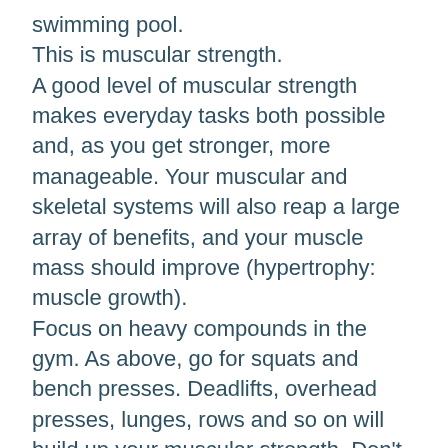swimming pool. This is muscular strength. A good level of muscular strength makes everyday tasks both possible and, as you get stronger, more manageable. Your muscular and skeletal systems will also reap a large array of benefits, and your muscle mass should improve (hypertrophy: muscle growth). Focus on heavy compounds in the gym. As above, go for squats and bench presses. Deadlifts, overhead presses, lunges, rows and so on will build up your muscular strength. Don't overlook your core – layouts, planks, hanging leg raises and so on will be vital for building core strength, which in turn will be vital in developing full body strength. For pure strength, aim at single figure reps. For hypertrophy, aim for the 8-14 rep range.